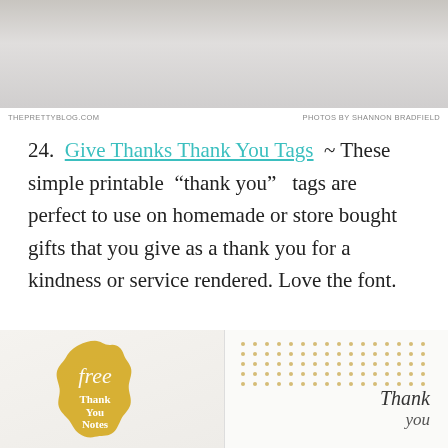[Figure (photo): Close-up photo of brown craft paper roll on light gray textured background]
THEPRETTYBLOG.COM                    PHOTOS BY SHANNON BRADFIELD
24.  Give Thanks Thank You Tags  ~ These simple printable “thank you”  tags are perfect to use on homemade or store bought gifts that you give as a thank you for a kindness or service rendered. Love the font.
[Figure (photo): Two thank you card/tag designs: left shows a gold foil scalloped seal with 'free Thank You Notes' text in script; right shows gold polka dots pattern on white with 'Thank you' in script calligraphy]